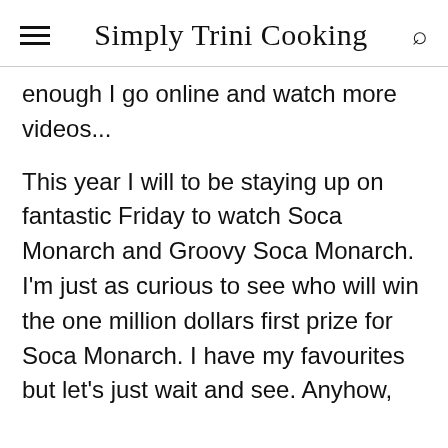Simply Trini Cooking
enough I go online and watch more videos...
This year I will to be staying up on fantastic Friday to watch Soca Monarch and Groovy Soca Monarch. I'm just as curious to see who will win the one million dollars first prize for Soca Monarch. I have my favourites but let's just wait and see. Anyhow,